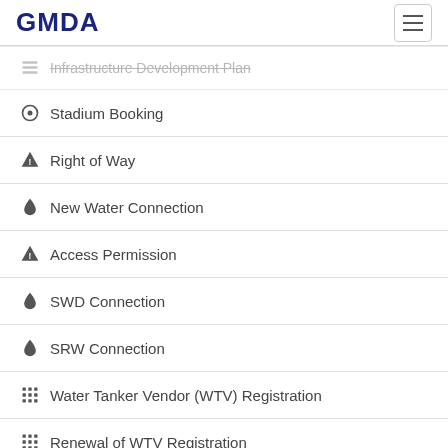GMDA
Infrastructure Development Plan
Stadium Booking
Right of Way
New Water Connection
Access Permission
SWD Connection
SRW Connection
Water Tanker Vendor (WTV) Registration
Renewal of WTV Registration
Water Tanker Booking